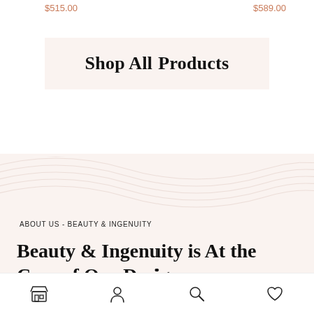$515.00
$589.00
Shop All Products
ABOUT US - BEAUTY & INGENUITY
Beauty & Ingenuity is At the Core of Our Designs